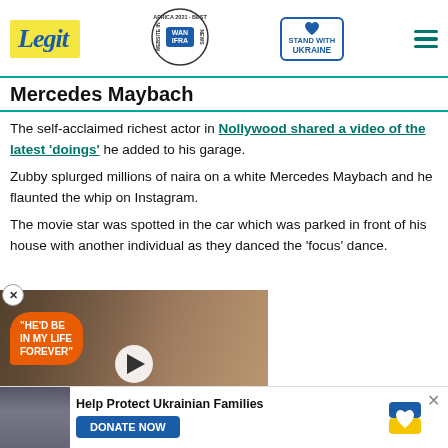Legit | WAN IFRA 2021 Best News Website in Africa | Stand With Ukraine
Mercedes Maybach
The self-acclaimed richest actor in Nollywood shared a video of the latest 'doings' he added to his garage.
Zubby splurged millions of naira on a white Mercedes Maybach and he flaunted the whip on Instagram.
The movie star was spotted in the car which was parked in front of his house with another individual as they danced the 'focus' dance.
[Figure (screenshot): Video thumbnail showing two people with overlay text 'HE'D BE IN MY LIFE FOREVER' on orange speech bubble, play button, and red chevron arrow]
Help Protect Ukrainian Families | DONATE NOW